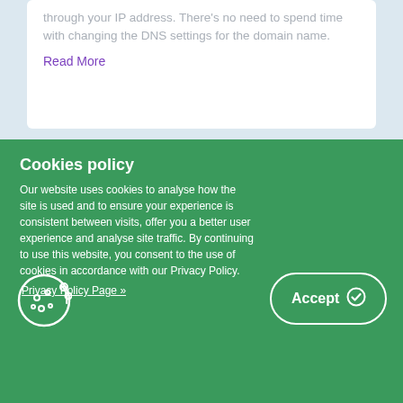through your IP address. There's no need to spend time with changing the DNS settings for the domain name.
Read More
Cookies policy
Our website uses cookies to analyse how the site is used and to ensure your experience is consistent between visits, offer you a better user experience and analyse site traffic. By continuing to use this website, you consent to the use of cookies in accordance with our Privacy Policy.
Privacy Policy Page »
[Figure (illustration): Cookie icon — outline of a cookie with dots, drawn in white lines on green background]
Accept ✓